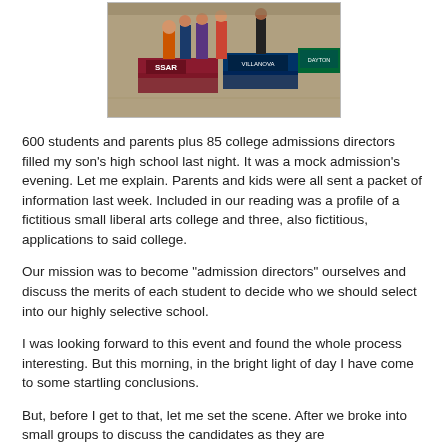[Figure (photo): Photo of students and adults at tables with college banners including 'SSAR' and 'Villanova' at what appears to be a college fair or admissions event in a gymnasium.]
600 students and parents plus 85 college admissions directors filled my son's high school last night. It was a mock admission's evening. Let me explain. Parents and kids were all sent a packet of information last week. Included in our reading was a profile of a fictitious small liberal arts college and three, also fictitious, applications to said college.
Our mission was to become "admission directors" ourselves and discuss the merits of each student to decide who we should select into our highly selective school.
I was looking forward to this event and found the whole process interesting. But this morning, in the bright light of day I have come to some startling conclusions.
But, before I get to that, let me set the scene. After we broke into small groups to discuss the candidates as they are